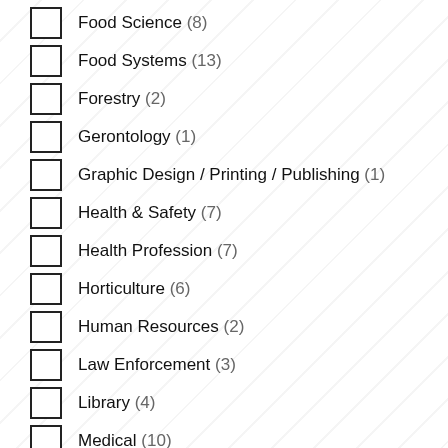Food Science (8)
Food Systems (13)
Forestry (2)
Gerontology (1)
Graphic Design / Printing / Publishing (1)
Health & Safety (7)
Health Profession (7)
Horticulture (6)
Human Resources (2)
Law Enforcement (3)
Library (4)
Medical (10)
Natural / Quantitative Sciences (20)
Nutrition (6)